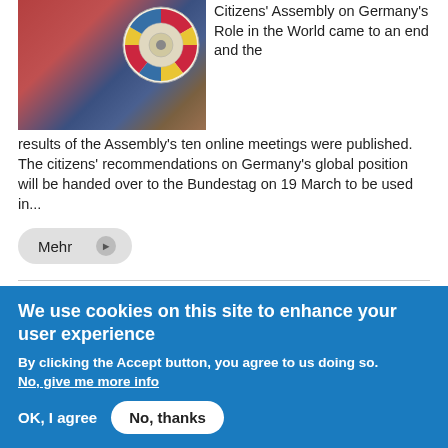[Figure (photo): Photo of a circular colorful wheel/badge with red, blue, and yellow sections, against a backdrop of red, blue, and brown fabric or banners.]
Citizens' Assembly on Germany's Role in the World came to an end and the results of the Assembly's ten online meetings were published. The citizens' recommendations on Germany's global position will be handed over to the Bundestag on 19 March to be used in...
Mehr ▶
1  2  3  4  nächste Seite ›  letzte Seite »
We use cookies on this site to enhance your user experience
By clicking the Accept button, you agree to us doing so.
No, give me more info
OK, I agree
No, thanks